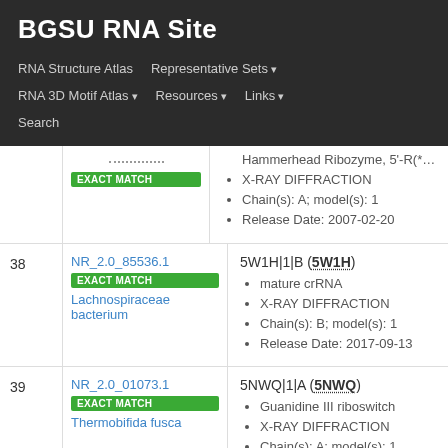BGSU RNA Site
RNA Structure Atlas | Representative Sets ▾ | RNA 3D Motif Atlas ▾ | Resources ▾ | Links ▾ | Search
| # | ID / Match | Structure Details |
| --- | --- | --- |
|  | EXACT MATCH | Hammerhead Ribozyme, 5'-R(*GP*GP*C... | X-RAY DIFFRACTION | Chain(s): A; model(s): 1 | Release Date: 2007-02-20 |
| 38 | NR_2.0_85536.1
EXACT MATCH
Lachnospiraceae bacterium | 5W1H|1|B (5W1H)
matute crRNA
X-RAY DIFFRACTION
Chain(s): B; model(s): 1
Release Date: 2017-09-13 |
| 39 | NR_2.0_01073.1
EXACT MATCH
Thermobifida fusca | 5NWQ|1|A (5NWQ)
Guanidine III riboswitch
X-RAY DIFFRACTION
Chain(s): A; model(s): 1 |